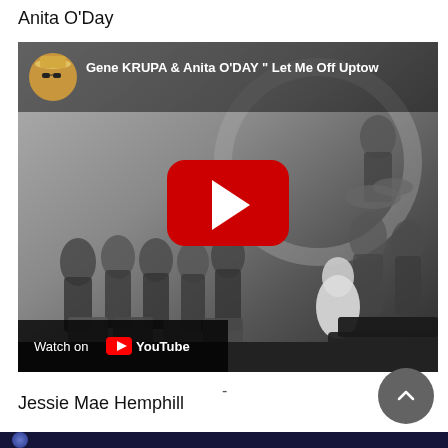Anita O'Day
[Figure (screenshot): YouTube video embed showing Gene KRUPA & Anita O'DAY 'Let Me Off Uptown' with a black and white band performance scene. Shows a channel avatar (man in hat and sunglasses), video title text, red YouTube play button, and 'Watch on YouTube' bar at the bottom.]
-
Jessie Mae Hemphill
[Figure (screenshot): Bottom edge of a second YouTube video embed, showing a dark/navy background with a circular avatar partially visible.]